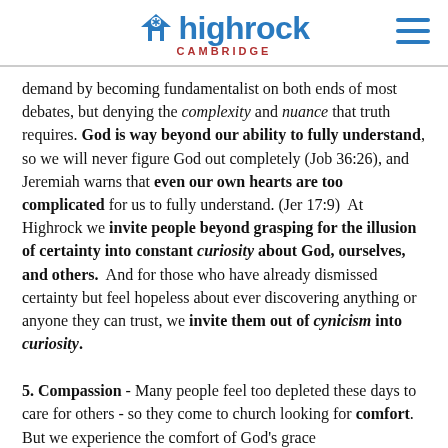highrock CAMBRIDGE
demand by becoming fundamentalist on both ends of most debates, but denying the complexity and nuance that truth requires. God is way beyond our ability to fully understand, so we will never figure God out completely (Job 36:26), and Jeremiah warns that even our own hearts are too complicated for us to fully understand. (Jer 17:9)  At Highrock we invite people beyond grasping for the illusion of certainty into constant curiosity about God, ourselves, and others.  And for those who have already dismissed certainty but feel hopeless about ever discovering anything or anyone they can trust, we invite them out of cynicism into curiosity.
5. Compassion - Many people feel too depleted these days to care for others - so they come to church looking for comfort. But we experience the comfort of God's grace